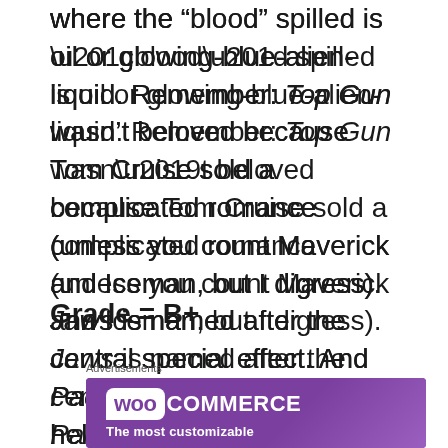where the “blood” spilled is oil or glowing-blue-alien-liquid. Remember: Top Gun wasn’t beloved because Tom Cruise sold a complicated romance (unless you count Maverick and Iceman, but I digress). Jaws is named after the central special effect. And Pacific Rim will satisfy the hell out of those who let it.
Grade = B+
Advertisements
[Figure (logo): WooCommerce advertisement banner with purple background showing WooCommerce logo and text 'The most customizable']